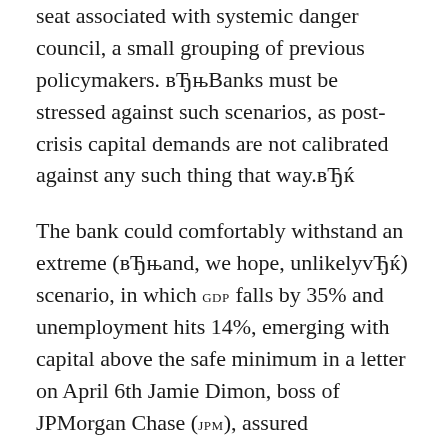falling in a 12 months/Br basis of publication, seat associated with systemic danger council, a small grouping of previous policymakers. вЂњBanks must be stressed against such scenarios, as post-crisis capital demands are not calibrated against any such thing that way.вЂќ
The bank could comfortably withstand an extreme (вЂњand, we hope, unlikelyvЂќ) scenario, in which GDP falls by 35% and unemployment hits 14%, emerging with capital above the safe minimum in a letter on April 6th Jamie Dimon, boss of JPMorgan Chase (JPM), assured shareholders. JPM could be the strongest, many lucrative for the worldвЂ™s banks that are big. Others, up against this kind of storm, may find on their own in some trouble. в–
This informative article starred in the Finance and